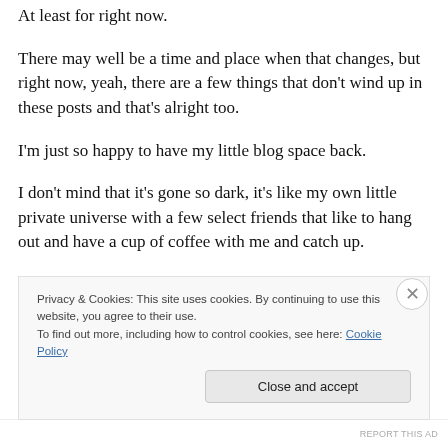At least for right now.
There may well be a time and place when that changes, but right now, yeah, there are a few things that don't wind up in these posts and that's alright too.
I'm just so happy to have my little blog space back.
I don't mind that it's gone so dark, it's like my own little private universe with a few select friends that like to hang out and have a cup of coffee with me and catch up.
I've got some followers who know me in my personal life
Privacy & Cookies: This site uses cookies. By continuing to use this website, you agree to their use.
To find out more, including how to control cookies, see here: Cookie Policy
Close and accept
REPORT THIS AD